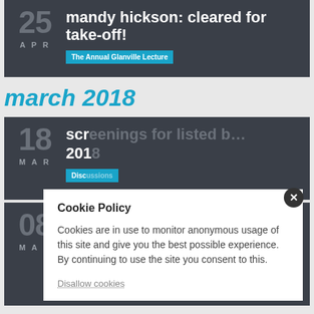mandy hickson: cleared for take-off!
The Annual Glanville Lecture
march 2018
scr... 2018...
Disc...
2018... day...
Drop In  Public Event  Seminar
Cookie Policy
Cookies are in use to monitor anonymous usage of this site and give you the best possible experience. By continuing to use the site you consent to this.
Disallow cookies